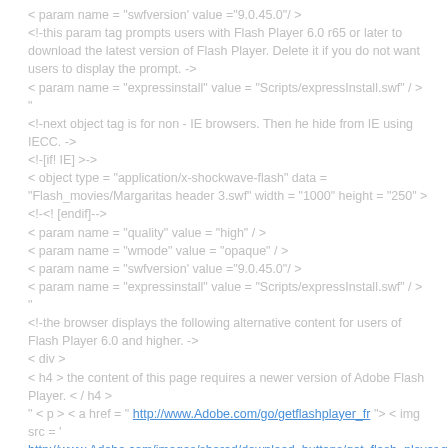< param name = "swfversion' value ="9.0.45.0"/ >
<!-this param tag prompts users with Flash Player 6.0 r65 or later to download the latest version of Flash Player. Delete it if you do not want users to display the prompt. ->
< param name = "expressinstall" value = "Scripts/expressInstall.swf" / > "
<!-next object tag is for non - IE browsers. Then he hide from IE using IECC. ->
<!-[if! IE] >->
< object type = "application/x-shockwave-flash" data = "Flash_movies/Margaritas header 3.swf" width = "1000" height = "250" >
<!-<! [endif]-->
< param name = "quality" value = "high" / >
< param name = "wmode" value = "opaque" / >
< param name = "swfversion' value ="9.0.45.0"/ >
< param name = "expressinstall" value = "Scripts/expressInstall.swf" / > "
<!-the browser displays the following alternative content for users of Flash Player 6.0 and higher. ->
< div >
< h4 > the content of this page requires a newer version of Adobe Flash Player. < / h4 >
" < p > < a href = " http://www.Adobe.com/go/getflashplayer_fr "> < img src = ' http://www.Adobe.com/images/shared/download_buttons/get_flash_player.gif "alt = 'Get Adobe Flash player' width = '112' height ="33"/ > < /a > < /p > "
< / div >
<!-[if! IE] >->